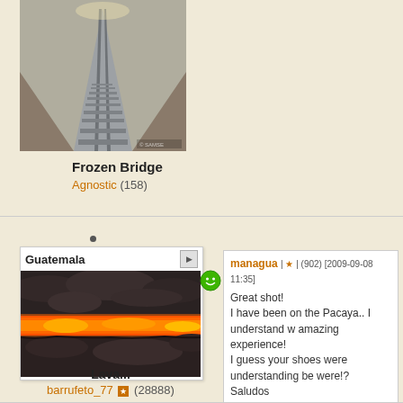[Figure (photo): Frozen bridge/railway tracks receding into distance with frost/ice]
Frozen Bridge
Agnostic (158)
[Figure (photo): Lava photo showing glowing orange lava between dark volcanic rock]
Guatemala
Lava...
barrufeto_77 (28888)
managua | (902) [2009-09-08 11:35]
Great shot!
I have been on the Pacaya.. I understand w amazing experience!
I guess your shoes were understanding be were!?
Saludos
Andrea